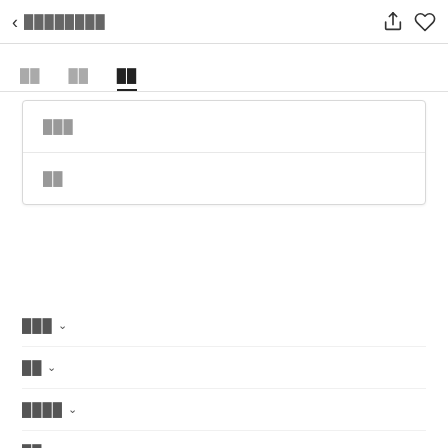< ████████
██  ██  ██
███
██
███ ∨
██ ∨
████ ∨
██
██